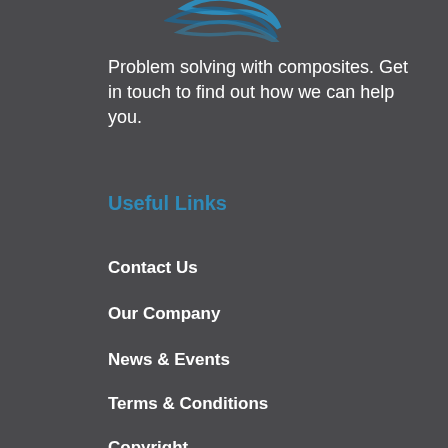[Figure (logo): Partial view of a company logo with blue curved swoosh/wave design at the top of the page]
Problem solving with composites. Get in touch to find out how we can help you.
Useful Links
Contact Us
Our Company
News & Events
Terms & Conditions
Copyright